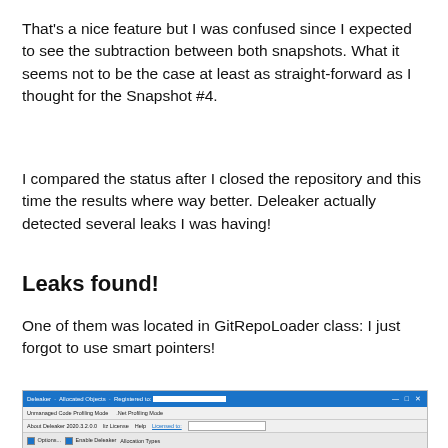That's a nice feature but I was confused since I expected to see the subtraction between both snapshots. What it seems not to be the case at least as straight-forward as I thought for the Snapshot #4.
I compared the status after I closed the repository and this time the results where way better. Deleaker actually detected several leaks I was having!
Leaks found!
One of them was located in GitRepoLoader class: I just forgot to use smart pointers!
[Figure (screenshot): Screenshot of Deleaker application window showing toolbar with 'Allocated Objects', snapshot controls including 'Snapshot #3' dropdown, Compare with button, Remove, Save, Load buttons, and tabs for Processes, Allocations, Modules, Resource Usage Graph, Log.]